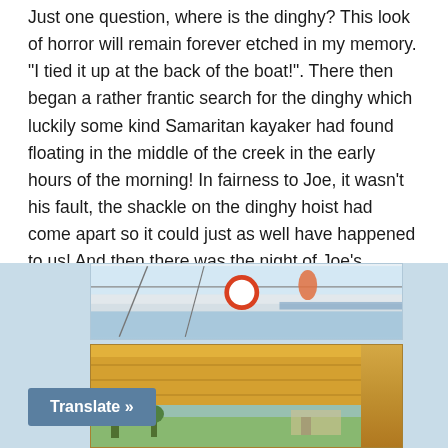Just one question, where is the dinghy? This look of horror will remain forever etched in my memory. "I tied it up at the back of the boat!". There then began a rather frantic search for the dinghy which luckily some kind Samaritan kayaker had found floating in the middle of the creek in the early hours of the morning! In fairness to Joe, it wasn't his fault, the shackle on the dinghy hoist had come apart so it could just as well have happened to us! And then there was the night of Joe's birthday party when we ended up in a Limousine with Joe and several friends driving up the highway to Baltimore just for the hell of it and drinking Vodka schnapps. Through Joe we got to meet John and his lovely partner Shannon, and Griff and Gwen who all came out on Toucan for a Sunday sail.
[Figure (photo): Two photos partially visible: top shows a boat with a life ring and rope/rigging detail; bottom shows an orange/yellow canopy or boat cover with outdoor scenery in background.]